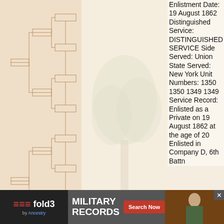[Figure (illustration): Genealogy pedigree chart tree lines on light peach background, left panel]
[Figure (illustration): Watermark/background illustration of a tree in center panel]
Enlistment Date: 19 August 1862 Distinguished Service: DISTINGUISHED SERVICE Side Served: Union State Served: New York Unit Numbers: 1350 1350 1349 1349 Service Record: Enlisted as a Private on 19 August 1862 at the age of 20 Enlisted in Company D, 6th Battn
[Figure (screenshot): fold3 by ancestry MILITARY RECORDS Search Now advertisement banner with soldier photo]